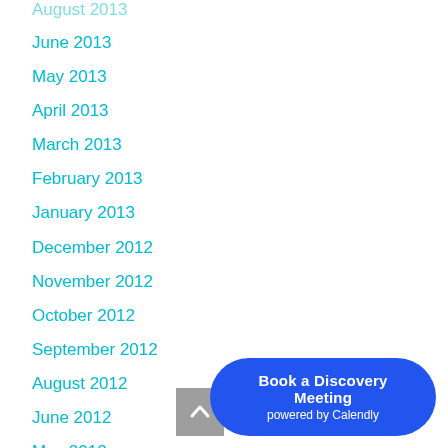August 2013
June 2013
May 2013
April 2013
March 2013
February 2013
January 2013
December 2012
November 2012
October 2012
September 2012
August 2012
June 2012
May 2012
Book a Discovery Meeting powered by Calendly